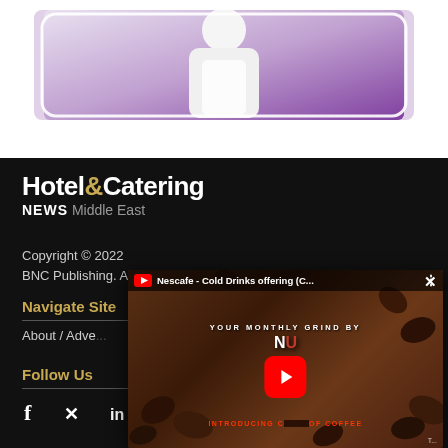[Figure (photo): Advertisement banner with a person in white clothing against a purple background, with a rounded rectangle border overlay]
[Figure (logo): Hotel & Catering NEWS Middle East logo in white and gold on black background]
Copyright © 2022
BNC Publishing. All Rights Reserved.
Navigate Site
About / Adve...
Follow Us
[Figure (screenshot): YouTube video overlay showing Nescafe - Cold Drinks offering video thumbnail with coffee beans background, play button, and title 'YOUR MONTHLY GRIND BY N...' with text 'INTRODUCING ... OF COFFEE']